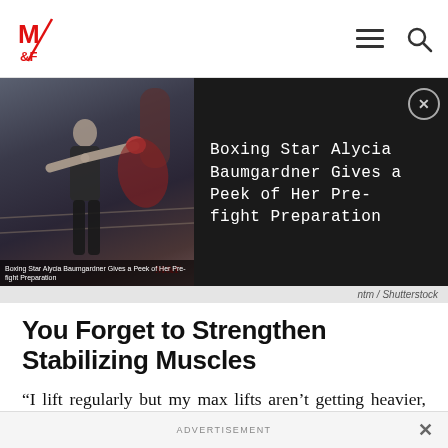M&F (Muscle & Fitness) navigation bar with logo, hamburger menu, and search icon
[Figure (screenshot): Ad overlay banner on dark background showing a boxing gym image on the left with caption 'Boxing Star Alycia Baumgardner Gives a Peek of Her Pre-fight Preparation', and the same text displayed on the right side in white on dark background, with a close (X) button]
ntm / Shutterstock
You Forget to Strengthen Stabilizing Muscles
“I lift regularly but my max lifts aren’t getting heavier, what’s the deal?” and “I keep hurting myself while trying to lift heavier” are frequent complaints among lifters
ADVERTISEMENT